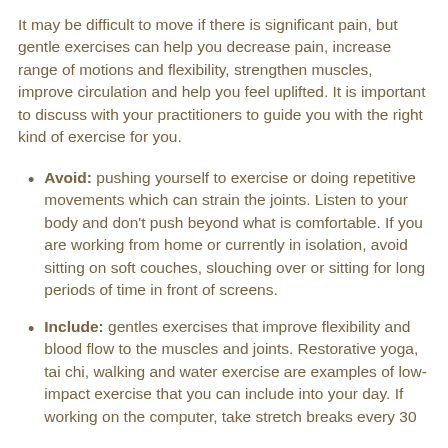It may be difficult to move if there is significant pain, but gentle exercises can help you decrease pain, increase range of motions and flexibility, strengthen muscles, improve circulation and help you feel uplifted. It is important to discuss with your practitioners to guide you with the right kind of exercise for you.
Avoid: pushing yourself to exercise or doing repetitive movements which can strain the joints. Listen to your body and don't push beyond what is comfortable. If you are working from home or currently in isolation, avoid sitting on soft couches, slouching over or sitting for long periods of time in front of screens.
Include: gentles exercises that improve flexibility and blood flow to the muscles and joints. Restorative yoga, tai chi, walking and water exercise are examples of low-impact exercise that you can include into your day. If working on the computer, take stretch breaks every 30